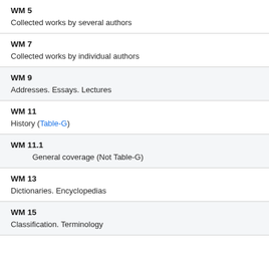WM 5
Collected works by several authors
WM 7
Collected works by individual authors
WM 9
Addresses. Essays. Lectures
WM 11
History (Table-G)
WM 11.1
General coverage (Not Table-G)
WM 13
Dictionaries. Encyclopedias
WM 15
Classification. Terminology